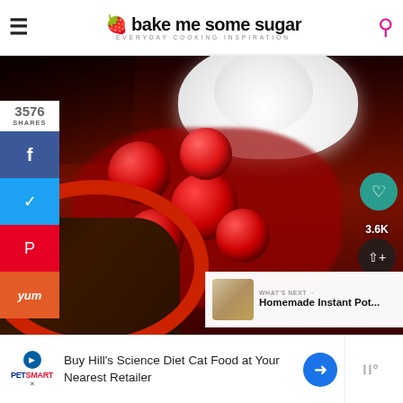bake me some sugar — EVERYDAY COOKING INSPIRATION
[Figure (photo): Close-up photo of a chocolate brownie dessert in a red ramekin bowl, topped with cherry pie filling and whipped cream]
3576
SHARES
3.6K
WHAT'S NEXT → Homemade Instant Pot...
Buy Hill's Science Diet Cat Food at Your Nearest Retailer